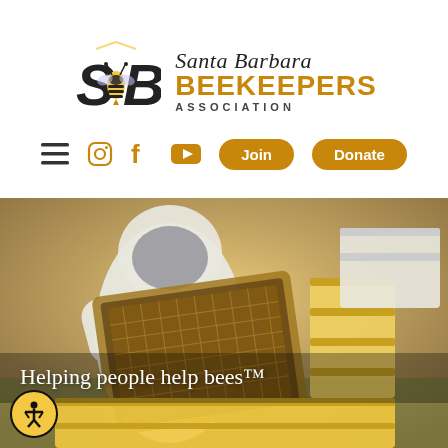[Figure (logo): Santa Barbara Beekeepers Association logo with stylized SBB emblem on the left and text on the right reading 'Santa Barbara BEEKEEPERS ASSOCIATION']
[Figure (infographic): Navigation bar with hamburger menu icon, Instagram icon, Facebook icon, YouTube icon, and two amber/orange pill-shaped buttons labeled 'Join' and 'Donate']
[Figure (photo): Beekeeper in white protective suit holding up a frame covered in bees, with yellow and white beehive boxes in the background. Warm golden outdoor lighting.]
Helping people help bees™